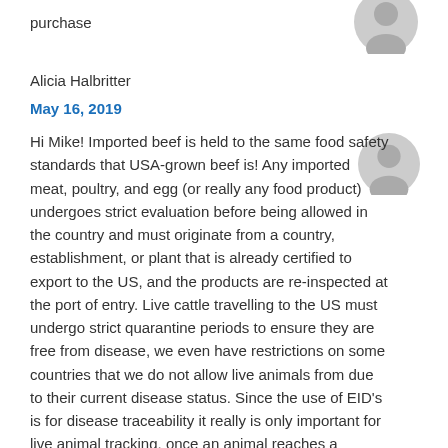purchase
Alicia Halbritter
May 16, 2019
Hi Mike! Imported beef is held to the same food safety standards that USA-grown beef is! Any imported meat, poultry, and egg (or really any food product) undergoes strict evaluation before being allowed in the country and must originate from a country, establishment, or plant that is already certified to export to the US, and the products are re-inspected at the port of entry. Live cattle travelling to the US must undergo strict quarantine periods to ensure they are free from disease, we even have restrictions on some countries that we do not allow live animals from due to their current disease status. Since the use of EID's is for disease traceability it really is only important for live animal tracking, once an animal reaches a processing facility it can be tested and tracked back to its previous